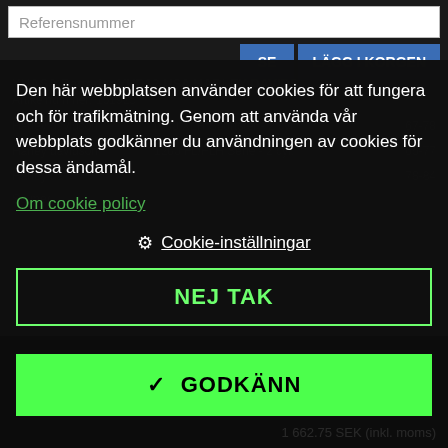Referensnummer
SE  LÄGG I KORGEN
Den här webbplatsen använder cookies för att fungera och för trafikmätning. Genom att använda vår webbplats godkänner du användningen av cookies för dessa ändamål.
Om cookie policy
Cookie-inställningar
NEJ TAK
YUASA Batterier YHD12 USA HARLEY DAVIDS
Artikelnummer: 161925
Harley davidson   1000 XLH Sportster - 2 cyl.   67-78
Harley davidson   1200 FL/FLH Serie - 2 cyl.   65-77
Harley da   78-84
Se mer
✓ GODKÄNN
1 662.75 SEK (inkl. moms)